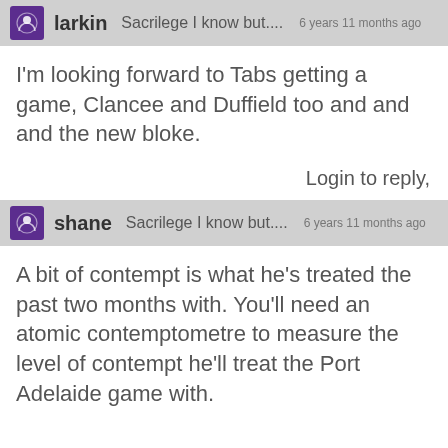larkin   Sacrilege I know but....   6 years 11 months ago
I'm looking forward to Tabs getting a game, Clancee and Duffield too and and and the new bloke.
Login to reply,
shane   Sacrilege I know but....   6 years 11 months ago
A bit of contempt is what he's treated the past two months with. You'll need an atomic contemptometre to measure the level of contempt he'll treat the Port Adelaide game with.